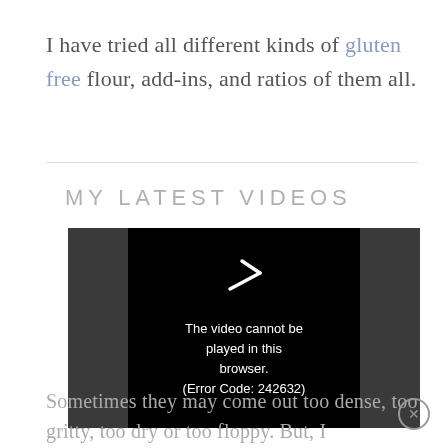I have tried all different kinds of gluten free flour, add-ins, and ratios of them all.
MY LATEST VIDEOS
[Figure (screenshot): Video player showing error message: 'The video cannot be played in this browser. (Error Code: 242632)' with a play icon above on black background.]
Sometimes they may come out too dense, too gritty, too dry or too floppy. But, I